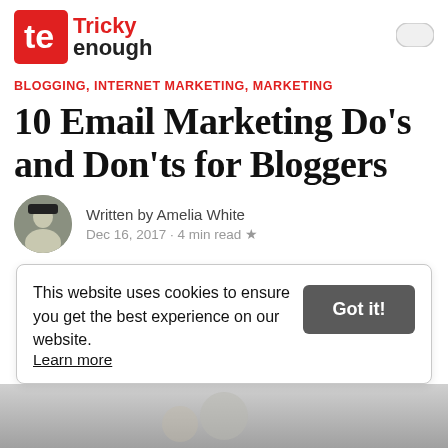Tricky enough
BLOGGING, INTERNET MARKETING, MARKETING
10 Email Marketing Do’s and Don’ts for Bloggers
Written by Amelia White
Dec 16, 2017 · 4 min read ★
This website uses cookies to ensure you get the best experience on our website.
Learn more